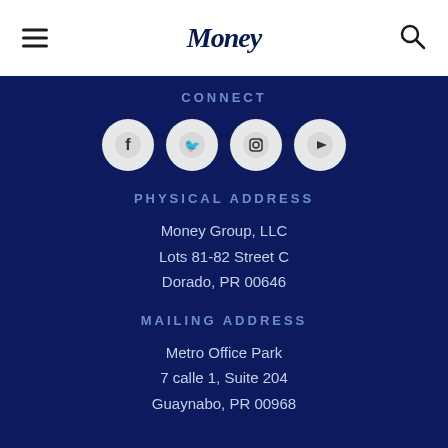Money
CONNECT
[Figure (illustration): Four social media icons: Facebook, Twitter, Instagram, YouTube]
PHYSICAL ADDRESS
Money Group, LLC
Lots 81-82 Street C
Dorado, PR 00646
MAILING ADDRESS
Metro Office Park
7 calle 1, Suite 204
Guaynabo, PR 00968